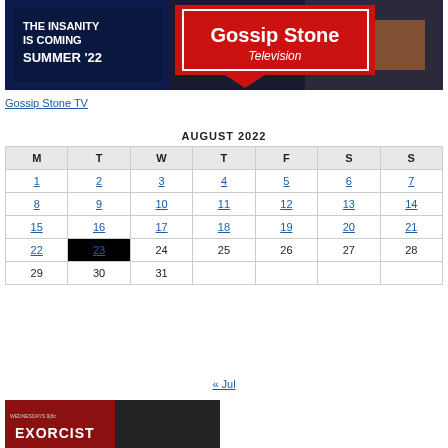[Figure (illustration): Gossip Stone Television promotional banner with dark background, red graphic element, billboards. Text: 'THE INSANITY IS COMING SUMMER 22' and 'Gossip Stone Television' logo.]
Gossip Stone TV
AUGUST 2022
| M | T | W | T | F | S | S |
| --- | --- | --- | --- | --- | --- | --- |
| 1 | 2 | 3 | 4 | 5 | 6 | 7 |
| 8 | 9 | 10 | 11 | 12 | 13 | 14 |
| 15 | 16 | 17 | 18 | 19 | 20 | 21 |
| 22 | 23 | 24 | 25 | 26 | 27 | 28 |
| 29 | 30 | 31 |  |  |  |  |
« Jul
[Figure (photo): Partial thumbnail image at bottom showing 'EXORCIST' text with dark/moody imagery.]